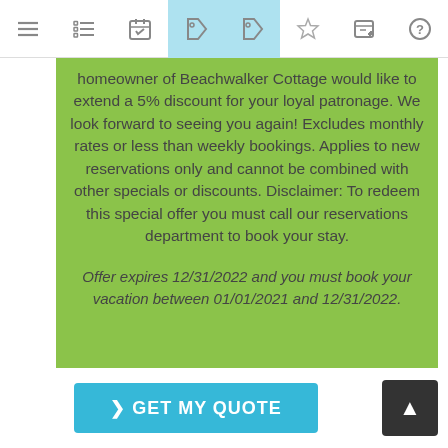[Navigation bar with icons: menu, list, calendar, tag (active), tag (active), star, edit, help]
homeowner of Beachwalker Cottage would like to extend a 5% discount for your loyal patronage. We look forward to seeing you again! Excludes monthly rates or less than weekly bookings. Applies to new reservations only and cannot be combined with other specials or discounts. Disclaimer: To redeem this special offer you must call our reservations department to book your stay.
Offer expires 12/31/2022 and you must book your vacation between 01/01/2021 and 12/31/2022.